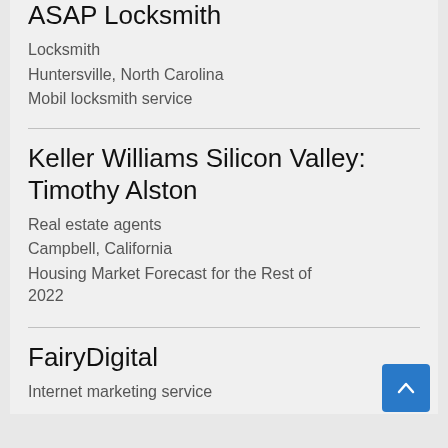ASAP Locksmith
Locksmith
Huntersville, North Carolina
Mobil locksmith service
Keller Williams Silicon Valley: Timothy Alston
Real estate agents
Campbell, California
Housing Market Forecast for the Rest of 2022
FairyDigital
Internet marketing service